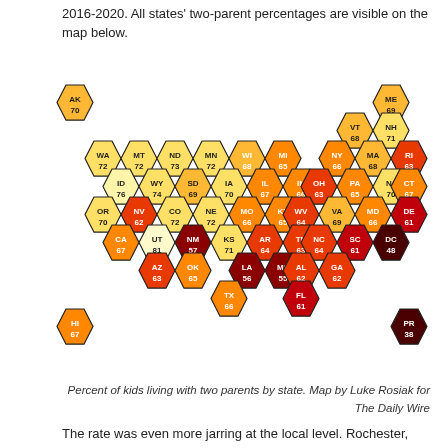2016-2020. All states' two-parent percentages are visible on the map below.
[Figure (map): Hexagonal tile map of the United States showing percent of kids living with two parents by state. States are colored from light yellow (high percentages ~70s) to dark red/maroon (low percentages ~38-55). Values shown: AK 70, ME 69, VT 68, NH 71, WA 72, MT 72, ND 73, MN 72, WI 68, MI 65, NY 66, MA 68, RI 63, ID 76, WY 74, SD 69, IA 70, IL 67, IN 66, OH 63, PA 65, NJ 70, CT 67, OR 70, NV 62, CO 72, NE 72, MO 66, KY 65, WV 64, VA 69, MD 66, DE 61, CA 67, UT 81, NM 57, KS 71, AR 64, TN 63, NC 64, SC 61, DC 48, AZ 63, OK 65, LA 56, MS 55, AL 62, GA 62, HI 67, TX 66, FL 61, PR 38]
Percent of kids living with two parents by state. Map by Luke Rosiak for The Daily Wire
The rate was even more jarring at the local level. Rochester,